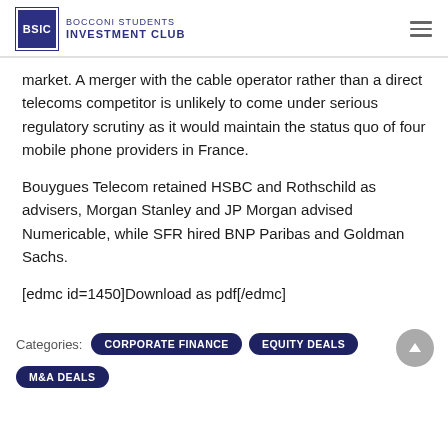BOCCONI STUDENTS INVESTMENT CLUB
market. A merger with the cable operator rather than a direct telecoms competitor is unlikely to come under serious regulatory scrutiny as it would maintain the status quo of four mobile phone providers in France.
Bouygues Telecom retained HSBC and Rothschild as advisers, Morgan Stanley and JP Morgan advised Numericable, while SFR hired BNP Paribas and Goldman Sachs.
[edmc id=1450]Download as pdf[/edmc]
Categories: CORPORATE FINANCE  EQUITY DEALS  M&A DEALS